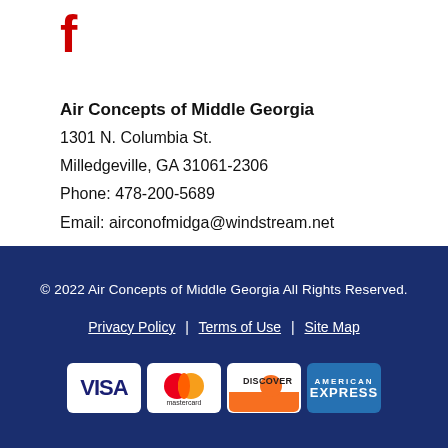[Figure (logo): Facebook 'f' logo in red]
Air Concepts of Middle Georgia
1301 N. Columbia St.
Milledgeville, GA 31061-2306
Phone: 478-200-5689
Email: airconofmidga@windstream.net
© 2022 Air Concepts of Middle Georgia All Rights Reserved.
Privacy Policy | Terms of Use | Site Map
[Figure (other): Payment method icons: Visa, Mastercard, Discover, American Express]